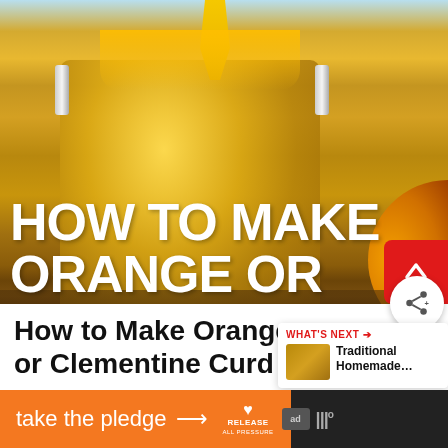[Figure (photo): A glass jar filled with orange curd or citrus preserve, overflowing with golden spread. Orange fruit segments visible in the background on a wooden surface.]
HOW TO MAKE ORANGE OR
How to Make Orange or Clementine Curd
[Figure (infographic): What's Next panel with thumbnail image and text: Traditional Homemade...]
take the pledge →